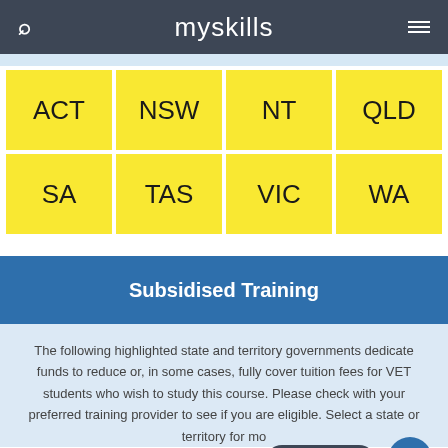myskills
| ACT | NSW | NT | QLD |
| SA | TAS | VIC | WA |
Subsidised Training
The following highlighted state and territory governments dedicate funds to reduce or, in some cases, fully cover tuition fees for VET students who wish to study this course. Please check with your preferred training provider to see if you are eligible. Select a state or territory for more information.